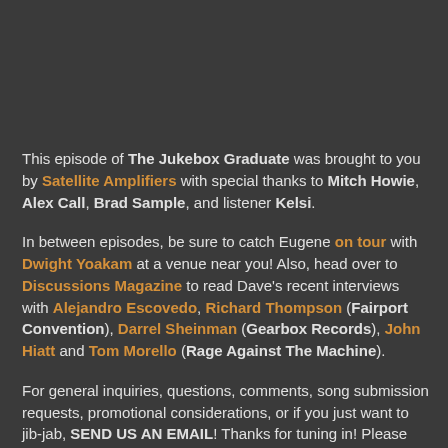This episode of The Jukebox Graduate was brought to you by Satellite Amplifiers with special thanks to Mitch Howie, Alex Call, Brad Sample, and listener Kelsi.
In between episodes, be sure to catch Eugene on tour with Dwight Yoakam at a venue near you! Also, head over to Discussions Magazine to read Dave's recent interviews with Alejandro Escovedo, Richard Thompson (Fairport Convention), Darrel Sheinman (Gearbox Records), John Hiatt and Tom Morello (Rage Against The Machine).
For general inquiries, questions, comments, song submission requests, promotional considerations, or if you just want to jib-jab, SEND US AN EMAIL! Thanks for tuning in! Please spread the word and share this podcast with your music friends!